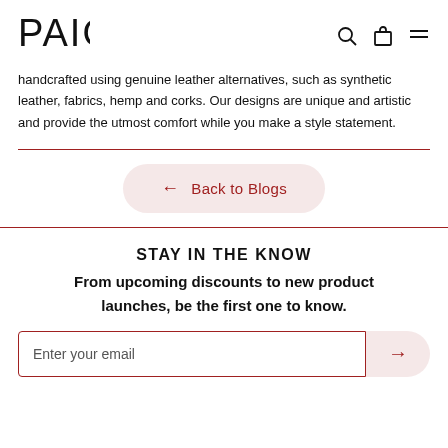PAIO
handcrafted using genuine leather alternatives, such as synthetic leather, fabrics, hemp and corks. Our designs are unique and artistic and provide the utmost comfort while you make a style statement.
← Back to Blogs
STAY IN THE KNOW
From upcoming discounts to new product launches, be the first one to know.
Enter your email